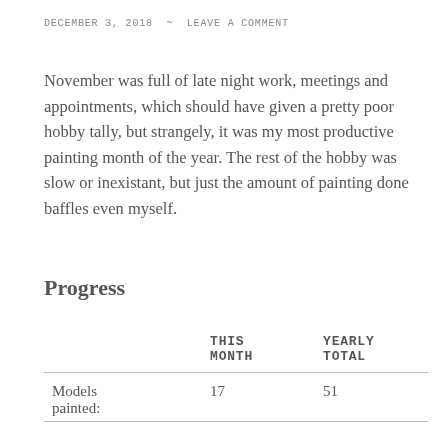DECEMBER 3, 2018 ~ LEAVE A COMMENT
November was full of late night work, meetings and appointments, which should have given a pretty poor hobby tally, but strangely, it was my most productive painting month of the year. The rest of the hobby was slow or inexistant, but just the amount of painting done baffles even myself.
Progress
|  | THIS MONTH | YEARLY TOTAL |
| --- | --- | --- |
| Models painted: | 17 | 51 |